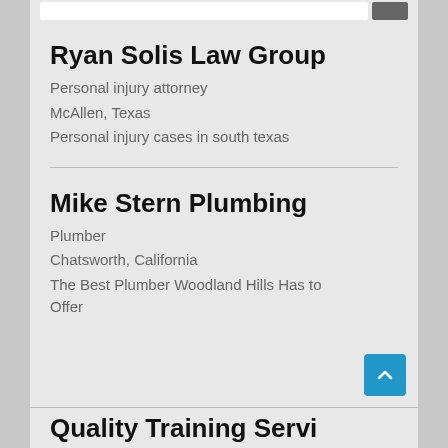Ryan Solis Law Group
Personal injury attorney
McAllen, Texas
Personal injury cases in south texas
Mike Stern Plumbing
Plumber
Chatsworth, California
The Best Plumber Woodland Hills Has to Offer